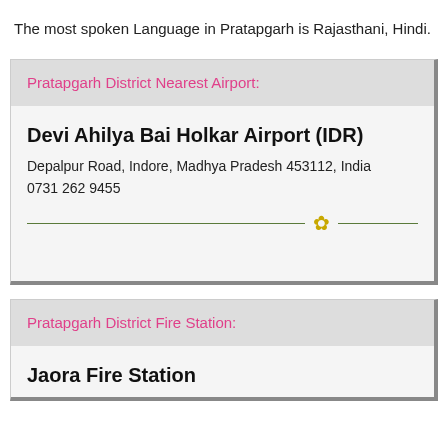The most spoken Language in Pratapgarh is Rajasthani, Hindi.
Pratapgarh District Nearest Airport:
Devi Ahilya Bai Holkar Airport (IDR)
Depalpur Road, Indore, Madhya Pradesh 453112, India
0731 262 9455
Pratapgarh District Fire Station:
Jaora Fire Station